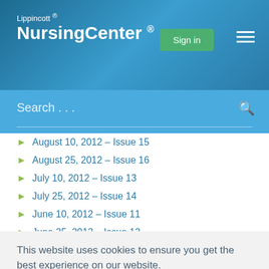Lippincott ® NursingCenter ®
August 10, 2012 – Issue 15
August 25, 2012 – Issue 16
July 10, 2012 – Issue 13
July 25, 2012 – Issue 14
June 10, 2012 – Issue 11
June 25, 2012 – Issue 12
This website uses cookies to ensure you get the best experience on our website.
Learn more
Got it!